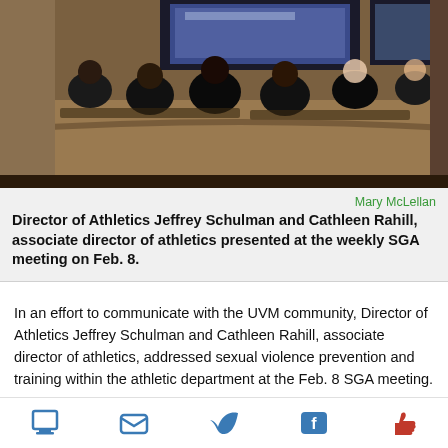[Figure (photo): Meeting room scene viewed from behind, attendees seated facing a presentation screen at the front of the room.]
Mary McLellan
Director of Athletics Jeffrey Schulman and Cathleen Rahill, associate director of athletics presented at the weekly SGA meeting on Feb. 8.
In an effort to communicate with the UVM community, Director of Athletics Jeffrey Schulman and Cathleen Rahill, associate director of athletics, addressed sexual violence prevention and training within the athletic department at the Feb. 8 SGA meeting.
The presentation resulted from a push from student leaders confronting the athletic department's lack of communication about their sexual violence and prevention training, said senior Oliviia Stephens, vice president of